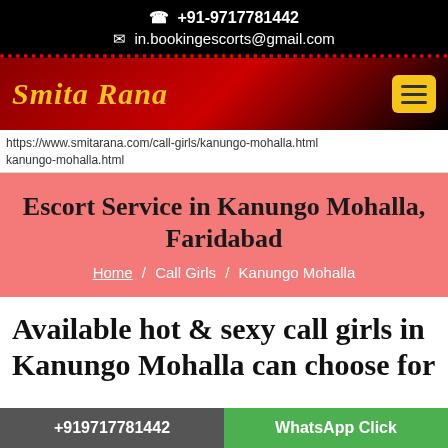☎ +91-9717781442
✉ in.bookingescorts@gmail.com
Smita Rana
https://www.smitarana.com/call-girls/kanungo-mohalla.html kanungo-mohalla.html
Escort Service in Kanungo Mohalla, Faridabad
Home / Call Girls / Kanungo Mohalla
Available hot & sexy call girls in Kanungo Mohalla can choose for
+919717781442   WhatsApp Click